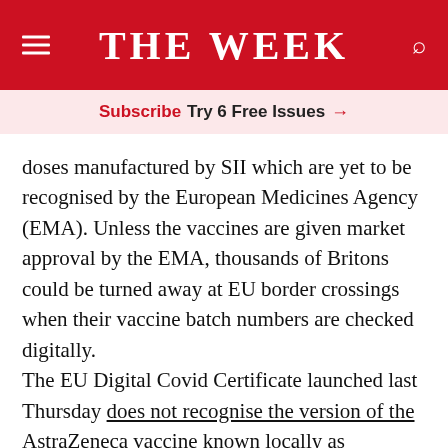THE WEEK
Subscribe  Try 6 Free Issues →
doses manufactured by SII which are yet to be recognised by the European Medicines Agency (EMA). Unless the vaccines are given market approval by the EMA, thousands of Britons could be turned away at EU border crossings when their vaccine batch numbers are checked digitally.
The EU Digital Covid Certificate launched last Thursday does not recognise the version of the AstraZeneca vaccine known locally as Covishield and manufactured by SII.